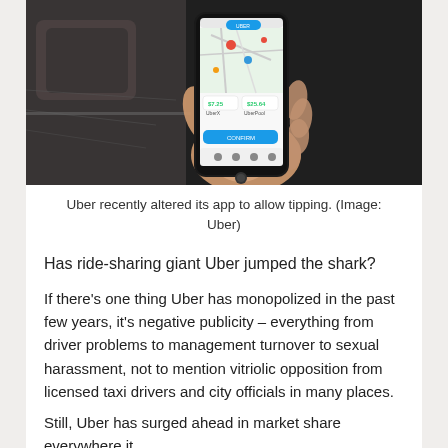[Figure (photo): A hand holding a smartphone displaying the Uber app interface with a map and fare amounts visible, photographed inside a vehicle.]
Uber recently altered its app to allow tipping. (Image: Uber)
Has ride-sharing giant Uber jumped the shark?
If there’s one thing Uber has monopolized in the past few years, it's negative publicity – everything from driver problems to management turnover to sexual harassment, not to mention vitriolic opposition from licensed taxi drivers and city officials in many places.
Still, Uber has surged ahead in market share everywhere it